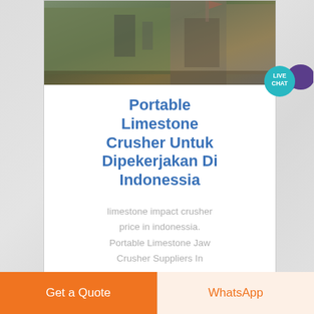[Figure (photo): Industrial/mining machinery site photo, outdoor with green walls and equipment visible]
Portable Limestone Crusher Untuk Dipekerjakan Di Indonessia
limestone impact crusher price in indonessia. Portable Limestone Jaw Crusher Suppliers In Indonessia. portable
[Figure (photo): Second industrial equipment photo, partially visible at bottom of page]
Get a Quote
WhatsApp